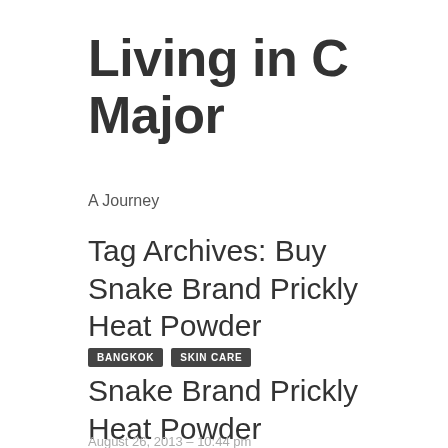Living in C Major
A Journey
Tag Archives: Buy Snake Brand Prickly Heat Powder
BANGKOK
SKIN CARE
Snake Brand Prickly Heat Powder
August 26, 2013 – 10:44 pm